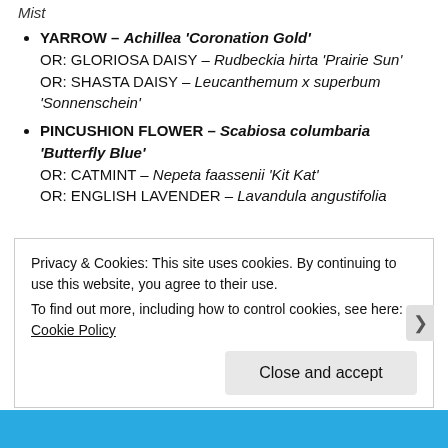Mist
YARROW – Achillea 'Coronation Gold'
OR: GLORIOSA DAISY – Rudbeckia hirta 'Prairie Sun'
OR: SHASTA DAISY – Leucanthemum x superbum 'Sonnenschein'
PINCUSHION FLOWER – Scabiosa columbaria 'Butterfly Blue'
OR: CATMINT – Nepeta faassenii 'Kit Kat'
OR: ENGLISH LAVENDER – Lavandula angustifolia
Privacy & Cookies: This site uses cookies. By continuing to use this website, you agree to their use.
To find out more, including how to control cookies, see here: Cookie Policy